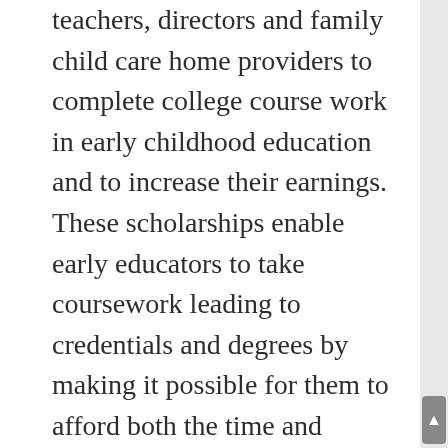Program provides scholarships to child care teachers, directors and family child care home providers to complete college course work in early childhood education and to increase their earnings. These scholarships enable early educators to take coursework leading to credentials and degrees by making it possible for them to afford both the time and expense of going to school.
T.E.A.C.H. is a national, evidence-based strategy that creates access to higher education for early educators working with young children in out-of-home settings. It also helps states leverage the financial resources necessary to provide access to higher education